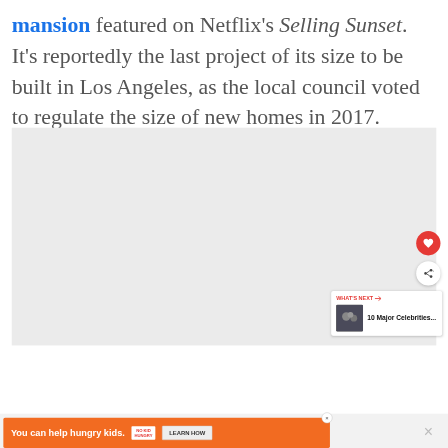mansion featured on Netflix's Selling Sunset. It's reportedly the last project of its size to be built in Los Angeles, as the local council voted to regulate the size of new homes in 2017.
[Figure (photo): Large placeholder image area, light gray background]
[Figure (infographic): UI overlay elements: heart/like button (red circle), share button (white circle with share icon), What's Next panel showing '10 Major Celebrities...' with thumbnail, and advertisement banner 'You can help hungry kids. NO KID HUNGRY LEARN HOW']